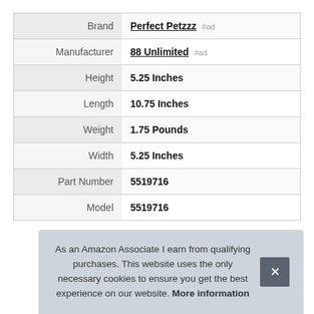| Attribute | Value |
| --- | --- |
| Brand | Perfect Petzzz #ad |
| Manufacturer | 88 Unlimited #ad |
| Height | 5.25 Inches |
| Length | 10.75 Inches |
| Weight | 1.75 Pounds |
| Width | 5.25 Inches |
| Part Number | 5519716 |
| Model | 5519716 |
As an Amazon Associate I earn from qualifying purchases. This website uses the only necessary cookies to ensure you get the best experience on our website. More information